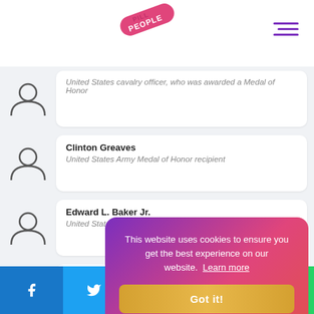People Pill
United States cavalry officer, who was awarded a Medal of Honor
Clinton Greaves — United States Army Medal of Honor recipient
Edward L. Baker Jr. — United States Army Medal of Honor recipient
Myles Moylan — American army officer
Edward Johnston (Medal of Honor) — American soldier
Frederick W. Sibley — American general
This website uses cookies to ensure you get the best experience on our website. Learn more
Facebook Twitter Reddit LinkedIn WhatsApp